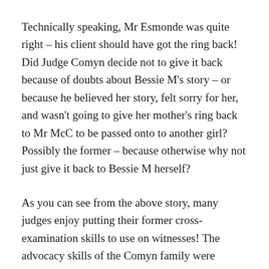Technically speaking, Mr Esmonde was quite right – his client should have got the ring back! Did Judge Comyn decide not to give it back because of doubts about Bessie M's story – or because he believed her story, felt sorry for her, and wasn't going to give her mother's ring back to Mr McC to be passed onto to another girl? Possibly the former – because otherwise why not just give it back to Bessie M herself?
As you can see from the above story, many judges enjoy putting their former cross-examination skills to use on witnesses! The advocacy skills of the Comyn family were unsurpassed – the legal careers of Judge Comyn and his nephew James, yet another Irishman who became an English High Court Judge, make fascinating reading!